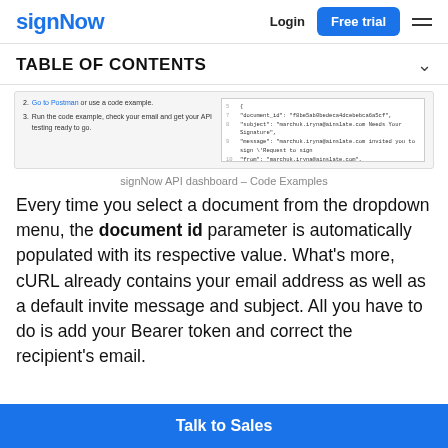signNow | Login | Free trial
TABLE OF CONTENTS
[Figure (screenshot): signNow API dashboard – Code Examples showing a split panel with step instructions on the left and JSON code output on the right]
signNow API dashboard – Code Examples
Every time you select a document from the dropdown menu, the document id parameter is automatically populated with its respective value. What's more, cURL already contains your email address as well as a default invite message and subject. All you have to do is add your Bearer token and correct the recipient's email.
Talk to Sales